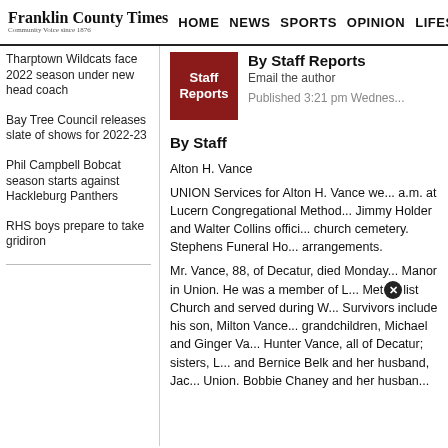Franklin County Times | HOME | NEWS | SPORTS | OPINION | LIFESTYLES
Tharptown Wildcats face 2022 season under new head coach
Bay Tree Council releases slate of shows for 2022-23
Phil Campbell Bobcat season starts against Hackleburg Panthers
RHS boys prepare to take gridiron
By Staff Reports
Email the author
Published 3:21 pm Wednes...
By Staff
Alton H. Vance
UNION Services for Alton H. Vance we... a.m. at Lucern Congregational Method... Jimmy Holder and Walter Collins offici... church cemetery. Stephens Funeral Ho... arrangements.
Mr. Vance, 88, of Decatur, died Monday... Manor in Union. He was a member of L... Methodist Church and served during W... Survivors include his son, Milton Vance... grandchildren, Michael and Ginger Va... Hunter Vance, all of Decatur; sisters, L... and Bernice Belk and her husband, Jac... Union. Bobbie Chaney and her husban...